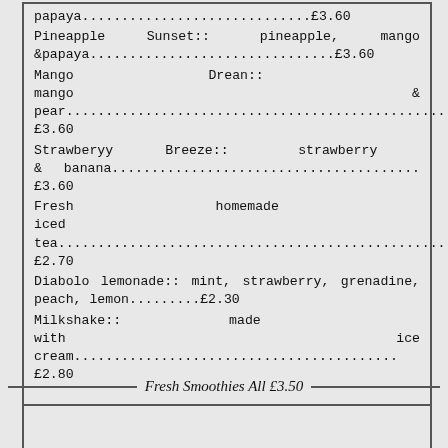papaya.............................£3.60
Pineapple Sunset:: pineapple, mango &papaya...............................£3.60
Mango Drean:: mango & pear...................................................£3.60
Strawberyy Breeze:: strawberry & banana...............................£3.60
Fresh homemade iced tea.................................................£2.70
Diabolo lemonade:: mint, strawberry, grenadine, peach, lemon.........£2.30
Milkshake:: made with ice cream.........................................£2.80
Fresh Smoothies All £3.50